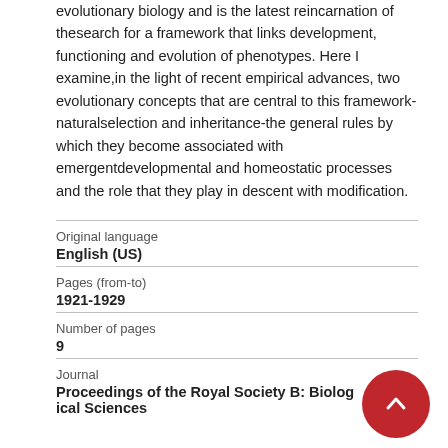evolutionary biology and is the latest reincarnation of thesearch for a framework that links development, functioning and evolution of phenotypes. Here I examine,in the light of recent empirical advances, two evolutionary concepts that are central to this framework-naturalselection and inheritance-the general rules by which they become associated with emergentdevelopmental and homeostatic processes and the role that they play in descent with modification.
| Field | Value |
| --- | --- |
| Original language | English (US) |
| Pages (from-to) | 1921-1929 |
| Number of pages | 9 |
| Journal | Proceedings of the Royal Society B: Biological Sciences |